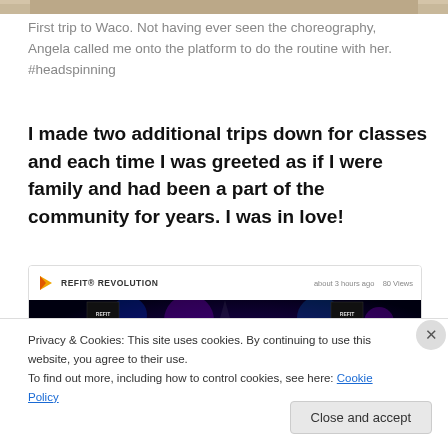[Figure (photo): Top portion of a photo, cropped — appears to show a person's chin/neck area against a light background]
First trip to Waco. Not having ever seen the choreography, Angela called me onto the platform to do the routine with her. #headspinning
I made two additional trips down for classes and each time I was greeted as if I were family and had been a part of the community for years. I was in love!
[Figure (screenshot): Embedded social media video card from REFIT® REVOLUTION, posted about 3 hours ago, 80 Views. Shows a dark concert/performance scene with a performer on stage, colored lights, and audience members. Two signs visible on left and right sides of stage.]
Privacy & Cookies: This site uses cookies. By continuing to use this website, you agree to their use.
To find out more, including how to control cookies, see here: Cookie Policy